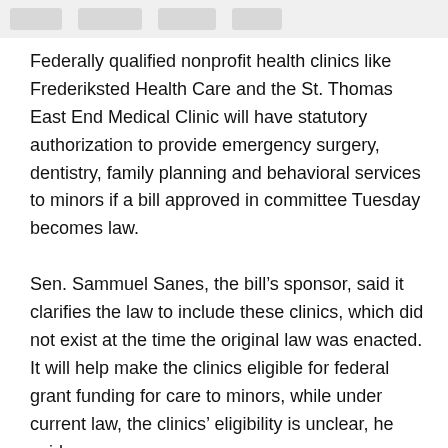Federally qualified nonprofit health clinics like Frederiksted Health Care and the St. Thomas East End Medical Clinic will have statutory authorization to provide emergency surgery, dentistry, family planning and behavioral services to minors if a bill approved in committee Tuesday becomes law.
Sen. Sammuel Sanes, the bill’s sponsor, said it clarifies the law to include these clinics, which did not exist at the time the original law was enacted. It will help make the clinics eligible for federal grant funding for care to minors, while under current law, the clinics’ eligibility is unclear, he said.
Dr. Jamila Benn, the chief medical officer of Frederiksted Health Care, testified in support of the change, saying the law "simply needs to be updated to include the facilities that are present today to serve the most vulnerable of our society